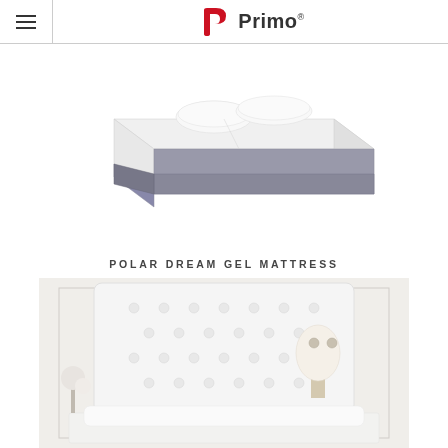Primo
[Figure (photo): A gel mattress with a grey base and white top surface with two white pillows, shown in an isometric product view on a white background. Product name: Polar Dream Gel Mattress.]
POLAR DREAM GEL MATTRESS
[Figure (photo): A bedroom scene featuring a white tufted upholstered headboard on a bed with white bedding. A white table lamp and flowers are visible on a nightstand in the background, with white paneled walls.]